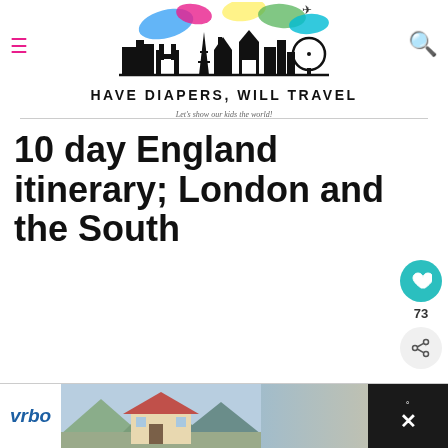[Figure (logo): Have Diapers Will Travel blog header with city skyline silhouette and colorful paint splashes, flanked by hamburger menu icon and search icon]
HAVE DIAPERS, WILL TRAVEL
Let's show our kids the world!
10 day England itinerary; London and the South
[Figure (other): Heart/like button (teal circle with heart icon) showing 73 likes, and a share button below]
Growing up in the UK, I've been enough to explore some amazing parts of
[Figure (other): What's Next widget showing Solo New York trip; a New... article with thumbnail]
[Figure (other): Vrbo advertisement banner at bottom of page]